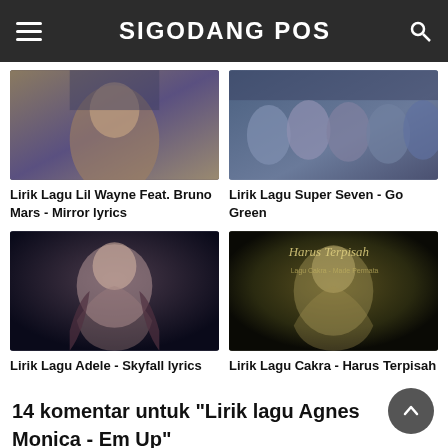SIGODANG POS
[Figure (photo): Photo of Lil Wayne / Bruno Mars in urban setting]
[Figure (photo): Photo of Super Seven band group in denim]
Lirik Lagu Lil Wayne Feat. Bruno Mars - Mirror lyrics
Lirik Lagu Super Seven - Go Green
[Figure (photo): Photo of Adele for Skyfall]
[Figure (photo): Photo of Cakra Khan - Harus Terpisah album cover]
Lirik Lagu Adele - Skyfall lyrics
Lirik Lagu Cakra - Harus Terpisah
14 komentar untuk "Lirik lagu Agnes Monica - Em Up"